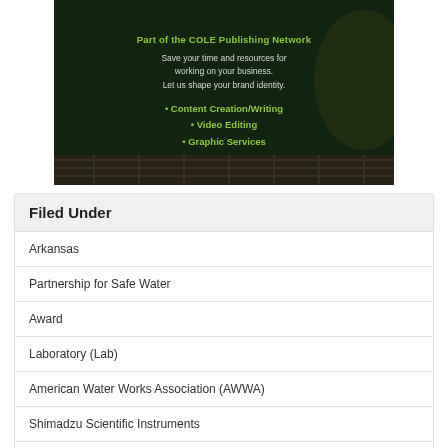[Figure (illustration): Advertisement banner with dark green background showing text: 'Part of the COLE Publishing Network. Save your time and resources for working on your business. Let us shape your brand identity. • Content Creation/Writing • Video Editing • Graphic Services']
Filed Under
Arkansas
Partnership for Safe Water
Award
Laboratory (Lab)
American Water Works Association (AWWA)
Shimadzu Scientific Instruments
TOC Analyzer